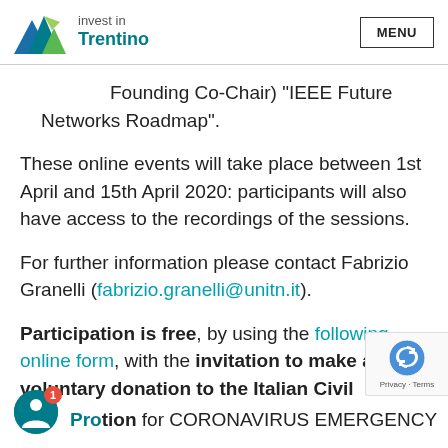invest in Trentino | MENU
Founding Co-Chair) "IEEE Future Networks Roadmap".
These online events will take place between 1st April and 15th April 2020: participants will also have access to the recordings of the sessions.
For further information please contact Fabrizio Granelli (fabrizio.granelli@unitn.it).
Participation is free, by using the following online form, with the invitation to make a voluntary donation to the Italian Civil Protection for CORONAVIRUS EMERGENCY